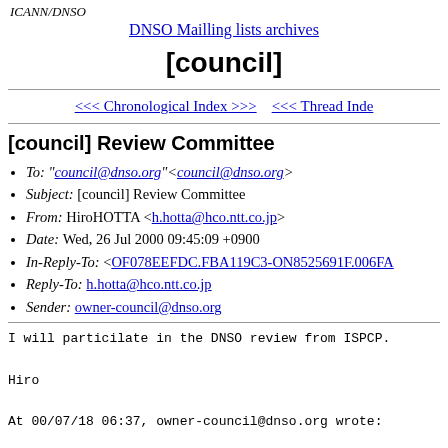ICANN/DNSO
DNSO Mailling lists archives
[council]
<<< Chronological Index >>> <<< Thread Inde
[council] Review Committee
To: "council@dnso.org"<council@dnso.org>
Subject: [council] Review Committee
From: HiroHOTTA <h.hotta@hco.ntt.co.jp>
Date: Wed, 26 Jul 2000 09:45:09 +0900
In-Reply-To: <OF078EEFDC.FBA119C3-ON8525691F.006FA
Reply-To: h.hotta@hco.ntt.co.jp
Sender: owner-council@dnso.org
I will particilate in the DNSO review from ISPCP.

Hiro

At 00/07/18 06:37, owner-council@dnso.org wrote: